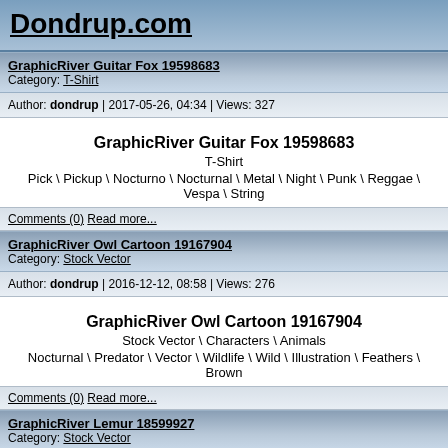Dondrup.com
GraphicRiver Guitar Fox 19598683
Category: T-Shirt
Author: dondrup | 2017-05-26, 04:34 | Views: 327
GraphicRiver Guitar Fox 19598683
T-Shirt
Pick \ Pickup \ Nocturno \ Nocturnal \ Metal \ Night \ Punk \ Reggae \ Vespa \ String
Comments (0) Read more...
GraphicRiver Owl Cartoon 19167904
Category: Stock Vector
Author: dondrup | 2016-12-12, 08:58 | Views: 276
GraphicRiver Owl Cartoon 19167904
Stock Vector \ Characters \ Animals
Nocturnal \ Predator \ Vector \ Wildlife \ Wild \ Illustration \ Feathers \ Brown
Comments (0) Read more...
GraphicRiver Lemur 18599927
Category: Stock Vector
Author: dondrup | 2016-10-28, 07:27 | Views: 295